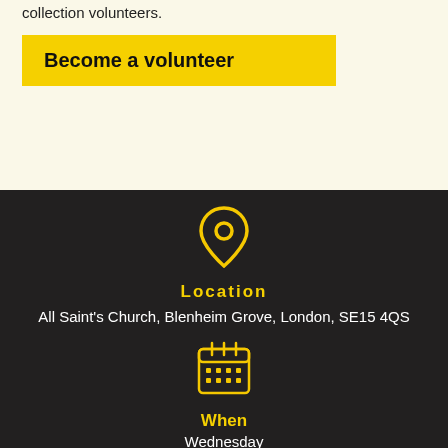collection volunteers.
Become a volunteer
[Figure (infographic): Yellow map pin location icon on dark background]
Location
All Saint's Church, Blenheim Grove, London, SE15 4QS
[Figure (infographic): Yellow calendar icon on dark background]
When
Wednesday
[Figure (infographic): Yellow clock/time icon on dark background, partially visible]